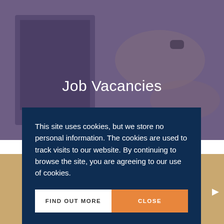[Figure (photo): Background photo of person typing on a laptop, overlaid with a dark purple tint]
Job Vacancies
This site uses cookies, but we store no personal information. The cookies are used to track visits to our website. By continuing to browse the site, you are agreeing to our use of cookies.
FIND OUT MORE
CLOSE
Supplyline News